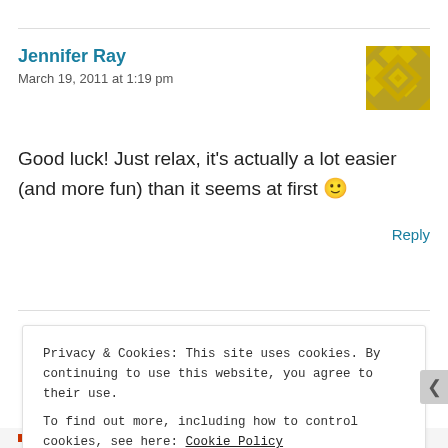Jennifer Ray
March 19, 2011 at 1:19 pm
Good luck! Just relax, it's actually a lot easier (and more fun) than it seems at first 🙂
Reply
Privacy & Cookies: This site uses cookies. By continuing to use this website, you agree to their use.
To find out more, including how to control cookies, see here: Cookie Policy
Close and accept